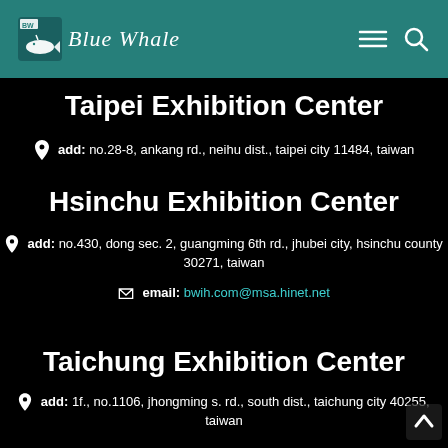Blue Whale
Taipei Exhibition Center
add: no.28-8, ankang rd., neihu dist., taipei city 11484, taiwan
Hsinchu Exhibition Center
add: no.430, dong sec. 2, guangming 6th rd., jhubei city, hsinchu county 30271, taiwan
email: bwih.com@msa.hinet.net
Taichung Exhibition Center
add: 1f., no.1106, jhongming s. rd., south dist., taichung city 40255, taiwan